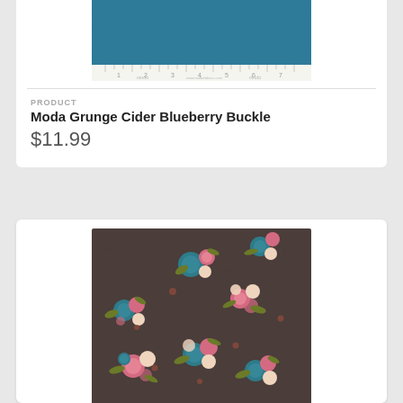[Figure (photo): Teal/blue solid fabric swatch with ruler measuring strip along the bottom, showing moda branding]
PRODUCT
Moda Grunge Cider Blueberry Buckle
$11.99
[Figure (photo): Dark brown fabric with scattered floral bouquet pattern featuring teal, pink, and cream flowers with olive green leaves]